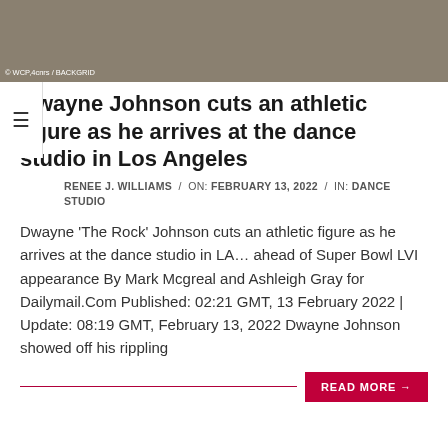[Figure (photo): Outdoor ground/pavement photo with photo credit '© WCP,4cnrs / BACKGRID' in bottom left corner]
Dwayne Johnson cuts an athletic figure as he arrives at the dance studio in Los Angeles
RENEE J. WILLIAMS / ON: FEBRUARY 13, 2022 / IN: DANCE STUDIO
Dwayne 'The Rock' Johnson cuts an athletic figure as he arrives at the dance studio in LA… ahead of Super Bowl LVI appearance By Mark Mcgreal and Ashleigh Gray for Dailymail.Com Published: 02:21 GMT, 13 February 2022 | Update: 08:19 GMT, February 13, 2022 Dwayne Johnson showed off his rippling
READ MORE →